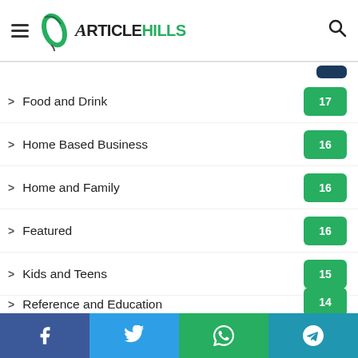ArticleHills
Food and Drink 17
Home Based Business 16
Home and Family 16
Featured 16
Kids and Teens 15
Reference and Education 14
Movies 14
World 13
News 12
Gadgets
Facebook | Twitter | WhatsApp | Telegram